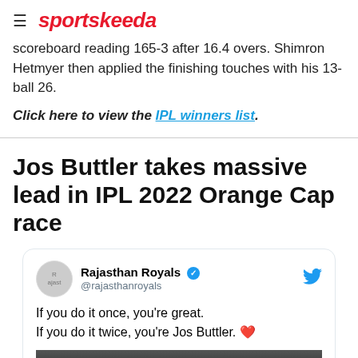sportskeeda
scoreboard reading 165-3 after 16.4 overs. Shimron Hetmyer then applied the finishing touches with his 13-ball 26.
Click here to view the IPL winners list.
Jos Buttler takes massive lead in IPL 2022 Orange Cap race
[Figure (screenshot): Tweet from Rajasthan Royals (@rajasthanroyals) with text: If you do it once, you're great. If you do it twice, you're Jos Buttler. ❤️]